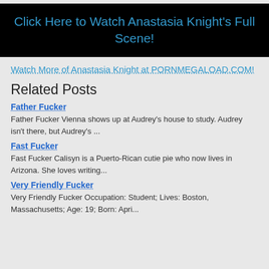Click Here to Watch Anastasia Knight's Full Scene!
Watch More of Anastasia Knight at PORNMEGALOAD.COM!
Related Posts
Father Fucker
Father Fucker Vienna shows up at Audrey's house to study. Audrey isn't there, but Audrey's ...
Fast Fucker
Fast Fucker Calisyn is a Puerto-Rican cutie pie who now lives in Arizona. She loves writing...
Very Friendly Fucker
Very Friendly Fucker Occupation: Student; Lives: Boston, Massachusetts; Age: 19; Born: Apri...